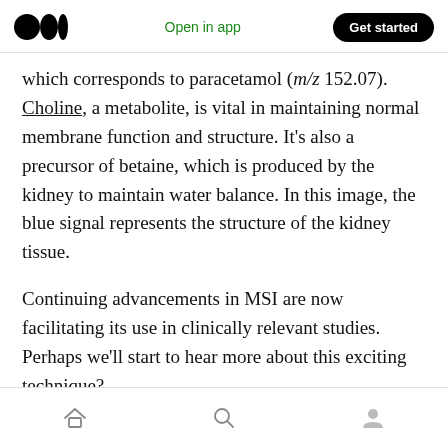Open in app | Get started
which corresponds to paracetamol (m/z 152.07). Choline, a metabolite, is vital in maintaining normal membrane function and structure. It's also a precursor of betaine, which is produced by the kidney to maintain water balance. In this image, the blue signal represents the structure of the kidney tissue.

Continuing advancements in MSI are now facilitating its use in clinically relevant studies. Perhaps we'll start to hear more about this exciting technique?
home | search | profile